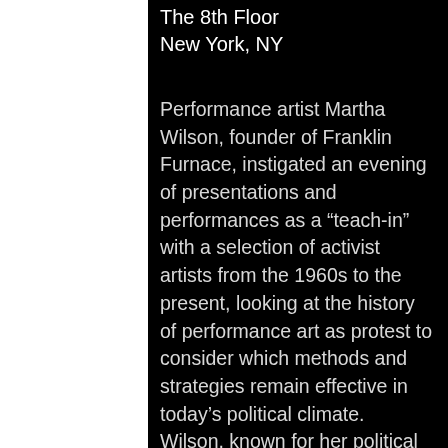The 8th Floor
New York, NY
Performance artist Martha Wilson, founder of Franklin Furnace, instigated an evening of presentations and performances as a “teach-in” with a selection of activist artists from the 1960s to the present, looking at the history of performance art as protest to consider which methods and strategies remain effective in today’s political climate. Wilson, known for her political drag performances as first ladies Barbara Bush and Nancy Reagan, will perform her recent work Martha Does Donald, in which she impersonates Donald Trump. In addition, the event will include presentations by artists Ann